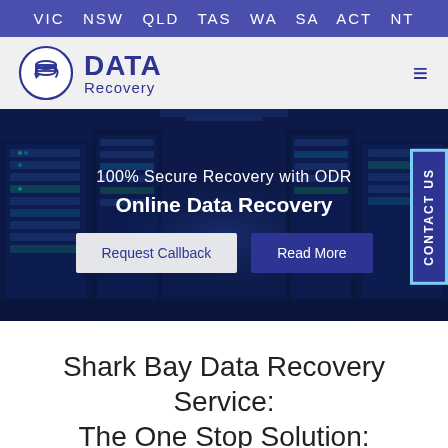VIC  NSW  QLD  TAS  WA  SA  ACT  NT
[Figure (logo): Data Recovery circular logo with database/cloud icon, blue text DATA Recovery]
[Figure (photo): Server room data center with rows of blue-lit server racks, dark blue overlay. Hero banner with text '100% Secure Recovery with ODR' and 'Online Data Recovery', plus Request Callback and Read More buttons. Contact Us vertical side tab.]
Shark Bay Data Recovery Service: The One Stop Solution: